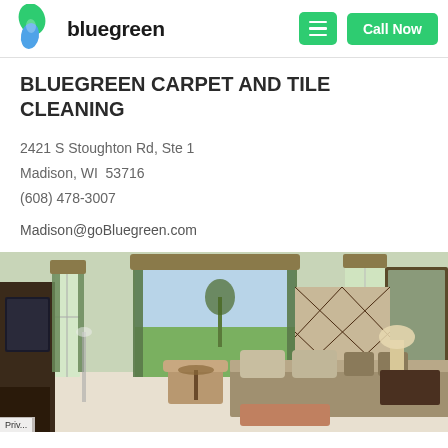[Figure (logo): Bluegreen logo with green leaf and blue water droplet icon, and 'bluegreen' wordmark in dark text]
BLUEGREEN CARPET AND TILE CLEANING
2421 S Stoughton Rd, Ste 1
Madison, WI  53716
(608) 478-3007
Madison@goBluegreen.com
[Figure (photo): Elegantly decorated bedroom with light green walls, large bay windows with green drapes, a upholstered bed with geometric headboard, carpet flooring, and luxury furniture]